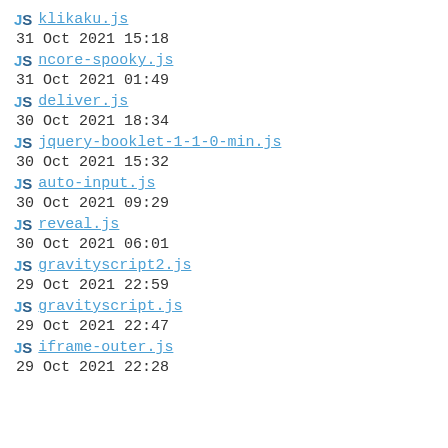JS klikaku.js
31 Oct 2021 15:18
JS ncore-spooky.js
31 Oct 2021 01:49
JS deliver.js
30 Oct 2021 18:34
JS jquery-booklet-1-1-0-min.js
30 Oct 2021 15:32
JS auto-input.js
30 Oct 2021 09:29
JS reveal.js
30 Oct 2021 06:01
JS gravityscript2.js
29 Oct 2021 22:59
JS gravityscript.js
29 Oct 2021 22:47
JS iframe-outer.js
29 Oct 2021 22:28